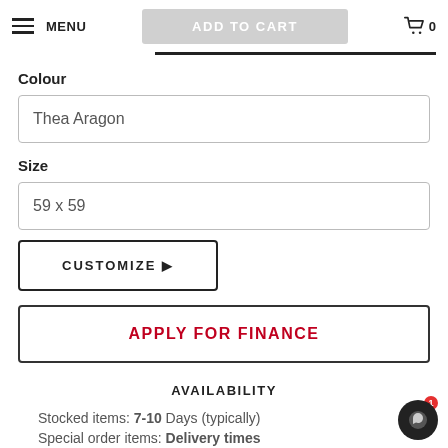MENU  ADD TO CART  0
Colour
Thea Aragon
Size
59 x 59
CUSTOMIZE ▶
APPLY FOR FINANCE
AVAILABILITY
Stocked items: 7-10 Days (typically)
Special order items: Delivery times